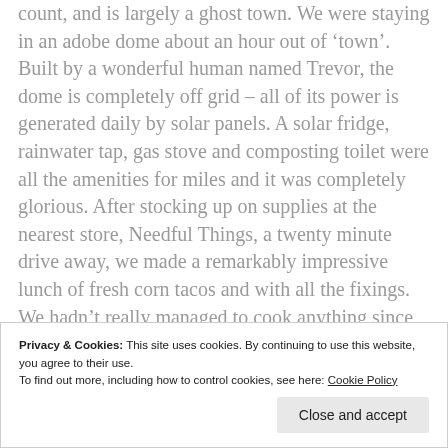count, and is largely a ghost town. We were staying in an adobe dome about an hour out of 'town'. Built by a wonderful human named Trevor, the dome is completely off grid – all of its power is generated daily by solar panels. A solar fridge, rainwater tap, gas stove and composting toilet were all the amenities for miles and it was completely glorious. After stocking up on supplies at the nearest store, Needful Things, a twenty minute drive away, we made a remarkably impressive lunch of fresh corn tacos and with all the fixings. We hadn't really managed to cook anything since staying with Mary in Atlanta right at the start of the trip, and it felt so good to just sit and
Privacy & Cookies: This site uses cookies. By continuing to use this website, you agree to their use. To find out more, including how to control cookies, see here: Cookie Policy
Close and accept